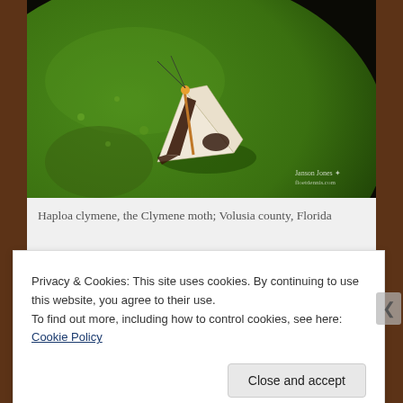[Figure (photo): Close-up photograph of a Haploa clymene (Clymene moth) resting on a green leaf. The moth has distinctive white/cream forewings with dark brown markings and thin antennae. Background is dark/black. Photographer watermark reads 'Janson Jones floetdennis.com' in lower right corner.]
Haploa clymene, the Clymene moth; Volusia county, Florida
Privacy & Cookies: This site uses cookies. By continuing to use this website, you agree to their use.
To find out more, including how to control cookies, see here: Cookie Policy